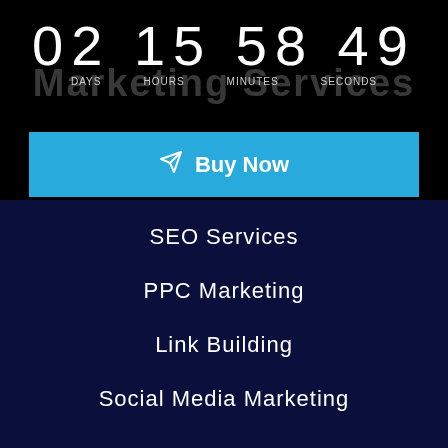Marketing Services
02 15 58 49 DAYS HOURS MINUTES SECONDS
Buy Now
SEO Services
PPC Marketing
Link Building
Social Media Marketing